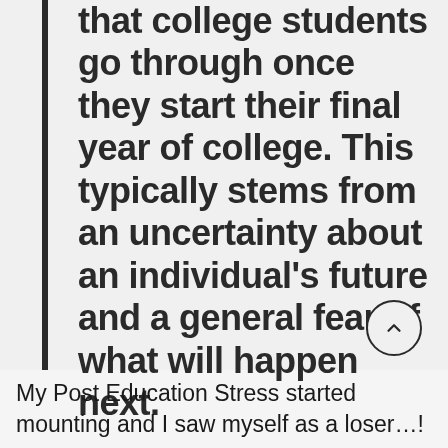that college students go through once they start their final year of college. This typically stems from an uncertainty about an individual's future and a general fear of what will happen next.
My Post Education Stress started mounting and I saw myself as a loser…!